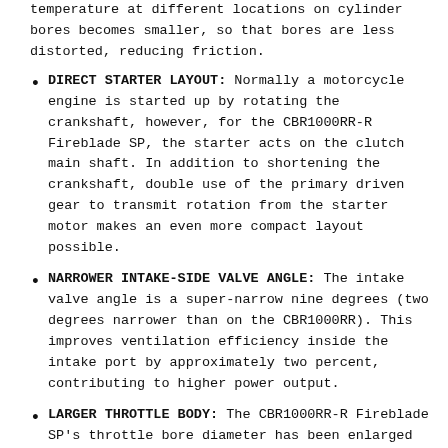temperature at different locations on cylinder bores becomes smaller, so that bores are less distorted, reducing friction.
DIRECT STARTER LAYOUT: Normally a motorcycle engine is started up by rotating the crankshaft, however, for the CBR1000RR-R Fireblade SP, the starter acts on the clutch main shaft. In addition to shortening the crankshaft, double use of the primary driven gear to transmit rotation from the starter motor makes an even more compact layout possible.
NARROWER INTAKE-SIDE VALVE ANGLE: The intake valve angle is a super-narrow nine degrees (two degrees narrower than on the CBR1000RR). This improves ventilation efficiency inside the intake port by approximately two percent, contributing to higher power output.
LARGER THROTTLE BODY: The CBR1000RR-R Fireblade SP's throttle bore diameter has been enlarged from 48mm to 52mm. The oval cross-section inside the throttle body streamlines airflow all the way from the throttle butterfly to the twin intake valves in the head to reduce intake air pressure drop.
FINAL-DRIVE GEARING: To better match the engine's power